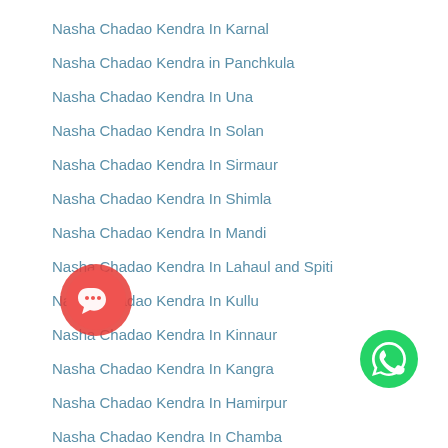Nasha Chadao Kendra In Karnal
Nasha Chadao Kendra in Panchkula
Nasha Chadao Kendra In Una
Nasha Chadao Kendra In Solan
Nasha Chadao Kendra In Sirmaur
Nasha Chadao Kendra In Shimla
Nasha Chadao Kendra In Mandi
Nasha Chadao Kendra In Lahaul and Spiti
Nasha Chadao Kendra In Kullu
Nasha Chadao Kendra In Kinnaur
Nasha Chadao Kendra In Kangra
Nasha Chadao Kendra In Hamirpur
Nasha Chadao Kendra In Chamba
[Figure (illustration): Red circular chat/callback button icon]
[Figure (illustration): Green circular WhatsApp icon button]